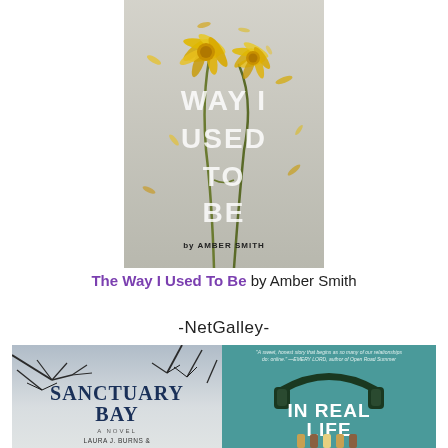[Figure (illustration): Book cover of 'The Way I Used To Be' by Amber Smith. Shows two yellow chrysanthemum flowers with petals scattering on a light grey background. Large white text reads 'WAY I USED TO BE' and 'by AMBER SMITH'.]
The Way I Used To Be by Amber Smith
-NetGalley-
[Figure (illustration): Book cover of 'Sanctuary Bay' — A Novel by Laura J. Burns & [Melinda Metz]. Misty grey background with bare winter tree branches. Large dark blue/navy text reads 'SANCTUARY BAY'.]
[Figure (illustration): Book cover of 'In Real Life'. Teal/mint green background with dark green headphones graphic above the title. Quote at top: 'A sweet, honest story that begins as so many of our relationships do: online.' —EMERY LORD, author of Open Road Summer. White text reads 'IN REAL LIFE'.]